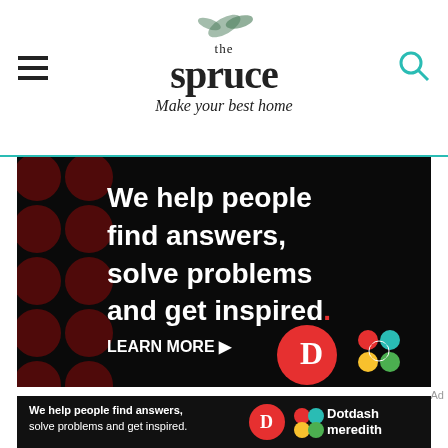the spruce — Make your best home
[Figure (screenshot): Advertisement banner: black background with dark red polka dots, white bold text reading 'We help people find answers, solve problems and get inspired.' with a red period. Below: 'LEARN MORE' with arrow. Dotdash 'D' logo in red circle and colorful Dotdash Meredith interlocking circles logo on right.]
05 Wash and Air-Dry
Wash the clothing with your favorite
[Figure (screenshot): Small advertisement strip: black background, white text 'We help people find answers, solve problems and get inspired.' with Dotdash D logo and Dotdash Meredith colorful logo and text on right.]